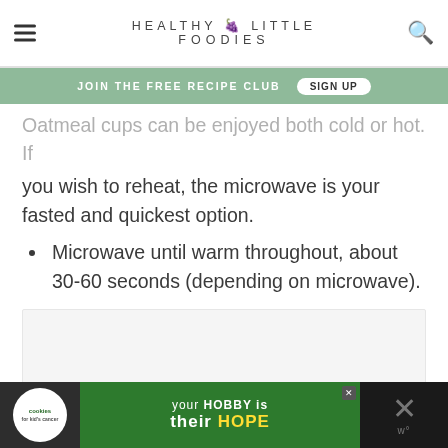HEALTHY LITTLE FOODIES
JOIN THE FREE RECIPE CLUB  SIGN UP
Oatmeal cups can be enjoyed both cold or hot. If you wish to reheat, the microwave is your fasted and quickest option.
Microwave until warm throughout, about 30-60 seconds (depending on microwave).
[Figure (other): Advertisement placeholder area (light grey box)]
[Figure (other): Bottom advertisement banner: Cookies for Kid's Cancer - your HOBBY is their HOPE]